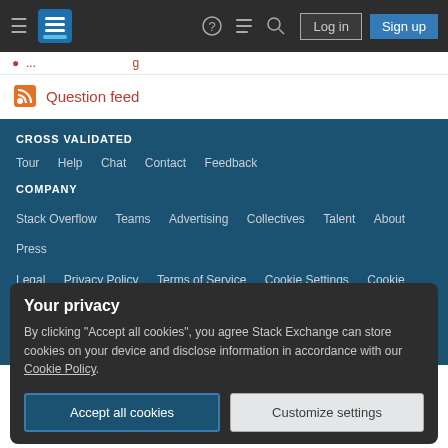Stack Exchange navigation bar with hamburger menu, logo, help, chat, search icons, Log in and Sign up buttons
Question feed
CROSS VALIDATED
Tour  Help  Chat  Contact  Feedback
COMPANY
Stack Overflow  Teams  Advertising  Collectives  Talent  About  Press  Legal  Privacy Policy  Terms of Service  Cookie Settings  Cookie Policy
STACK EXCHANGE NETWORK
Your privacy
By clicking "Accept all cookies", you agree Stack Exchange can store cookies on your device and disclose information in accordance with our Cookie Policy.